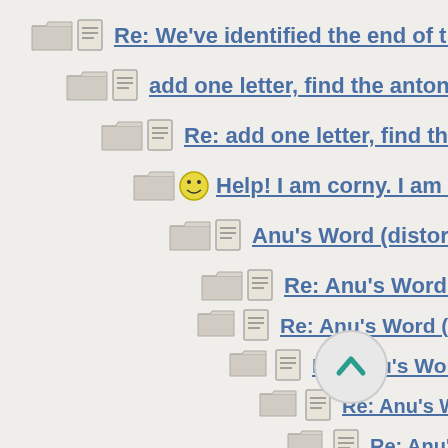Re: We've identified the end of the l…
add one letter, find the antonym?
Re: add one letter, find the anto…
Help! I am corny. I am clums…
Anu's Word (distorted)
Re: Anu's Word (distorte…
Re: Anu's Word (disto…
Re: Anu's Word (dis…
Re: Anu's Word (…
Re: Anu's Wor…
Re: Anu's W…